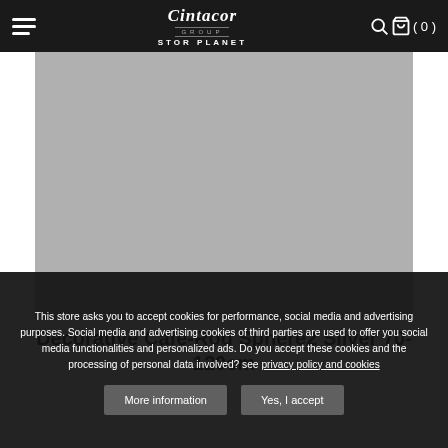Cintacor Group STOR PLANET — navigation bar with menu, logo, search and cart icons (0)
[Figure (photo): Product image placeholder — gray rectangle showing Decorative Cafe-Rod Sphere2 Silver 70-120cm]
Decorative Cafe-Rod Sphere2 Silver 70-120cm
This store asks you to accept cookies for performance, social media and advertising purposes. Social media and advertising cookies of third parties are used to offer you social media functionalities and personalized ads. Do you accept these cookies and the processing of personal data involved? see privacy policy and cookies
More information | Yes, I accept